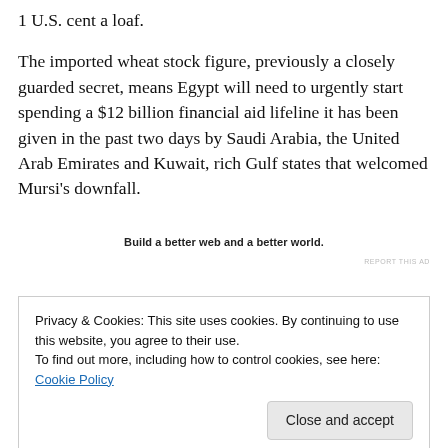1 U.S. cent a loaf.
The imported wheat stock figure, previously a closely guarded secret, means Egypt will need to urgently start spending a $12 billion financial aid lifeline it has been given in the past two days by Saudi Arabia, the United Arab Emirates and Kuwait, rich Gulf states that welcomed Mursi's downfall.
Build a better web and a better world.
REPORT THIS AD
Privacy & Cookies: This site uses cookies. By continuing to use this website, you agree to their use.
To find out more, including how to control cookies, see here: Cookie Policy
Close and accept